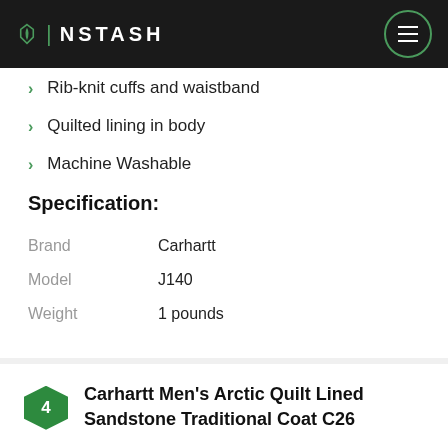INSTASH
Rib-knit cuffs and waistband
Quilted lining in body
Machine Washable
Specification:
|  |  |
| --- | --- |
| Brand | Carhartt |
| Model | J140 |
| Weight | 1 pounds |
Carhartt Men's Arctic Quilt Lined Sandstone Traditional Coat C26